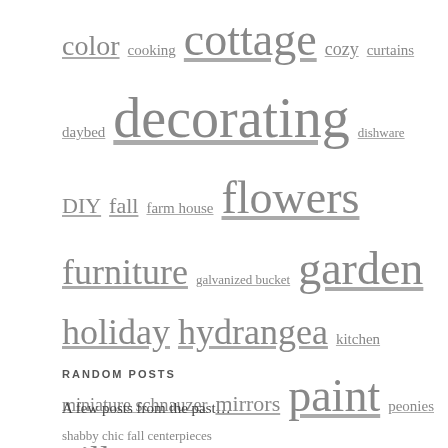color cooking cottage cozy curtains daybed decorating dishware DIY fall farm house flowers furniture galvanized bucket garden holiday hydrangea kitchen miniature schnauzer mirrors paint peonies pillows puppy remodel shabby chic shams spring summer sun porch taupe travel vintage Virginia warm whites winter yardsales
RANDOM POSTS
A few posts from the past...
shabby chic fall centerpieces